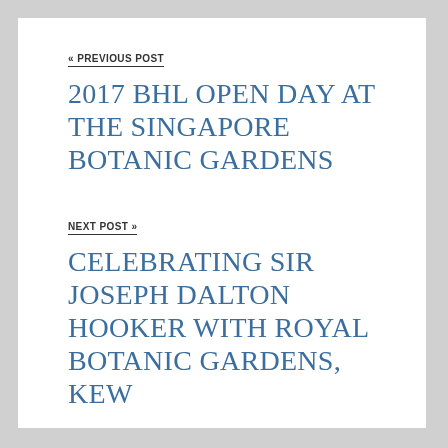« PREVIOUS POST
2017 BHL OPEN DAY AT THE SINGAPORE BOTANIC GARDENS
NEXT POST »
CELEBRATING SIR JOSEPH DALTON HOOKER WITH ROYAL BOTANIC GARDENS, KEW